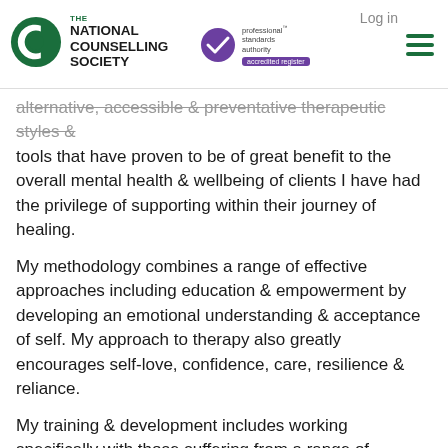Log in
[Figure (logo): The National Counselling Society logo with green circular icon and bold text]
[Figure (logo): Professional Standards Authority accredited register badge with purple checkmark icon]
alternative, accessible & preventative therapeutic styles & tools that have proven to be of great benefit to the overall mental health & wellbeing of clients I have had the privilege of supporting within their journey of healing.
My methodology combines a range of effective approaches including education & empowerment by developing an emotional understanding & acceptance of self. My approach to therapy also greatly encourages self-love, confidence, care, resilience & reliance.
My training & development includes working specifically with those suffering from a range of Anxieties, Depression, Bereavement, Traumatic life changes & Sexual Violence.